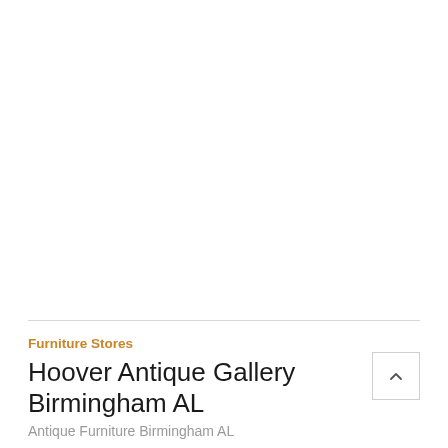Furniture Stores
Hoover Antique Gallery Birmingham AL
Antique Furniture Birmingham AL